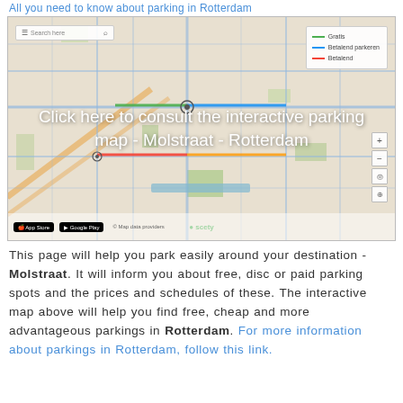All you need to know about parking in Rotterdam
[Figure (map): Interactive parking map of Rotterdam - Molstraat area showing street map with colored parking zone overlays. Overlay text reads: Click here to consult the interactive parking map - Molstraat - Rotterdam]
This page will help you park easily around your destination - Molstraat. It will inform you about free, disc or paid parking spots and the prices and schedules of these. The interactive map above will help you find free, cheap and more advantageous parkings in Rotterdam. For more information about parkings in Rotterdam, follow this link.